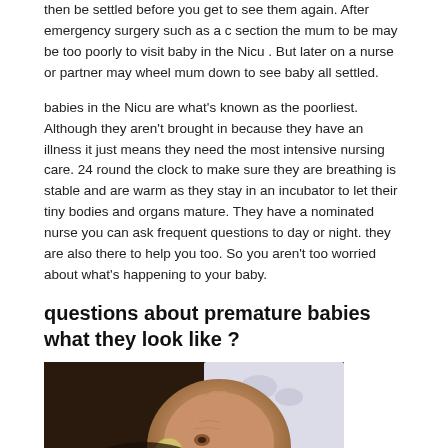then be settled before you get to see them again. After emergency surgery such as a c section the mum to be may be too poorly to visit baby in the Nicu . But later on a nurse or partner may wheel mum down to see baby all settled.
babies in the Nicu are what's known as the poorliest. Although they aren't brought in because they have an illness it just means they need the most intensive nursing care. 24 round the clock to make sure they are breathing is stable and are warm as they stay in an incubator to let their tiny bodies and organs mature. They have a nominated nurse you can ask frequent questions to day or night. they are also there to help you too. So you aren't too worried about what's happening to your baby.
questions about premature babies what they look like ?
[Figure (photo): Close-up photo of a premature baby in the NICU with medical sensors/monitors attached to the face and body, lying on patterned hospital bedding.]